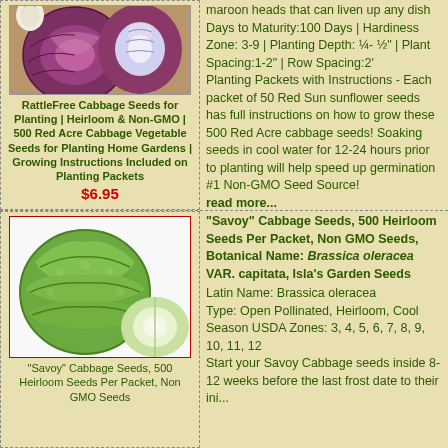[Figure (photo): Red/purple cabbage heads on wooden surface]
RattleFree Cabbage Seeds for Planting | Heirloom & Non-GMO | 500 Red Acre Cabbage Vegetable Seeds for Planting Home Gardens | Growing Instructions Included on Planting Packets $6.95
maroon heads that can liven up any dish Days to Maturity:100 Days | Hardiness Zone: 3-9 | Planting Depth: ¼- ½" | Plant Spacing:1-2" | Row Spacing:2' Planting Packets with Instructions - Each packet of 50 Red Sun sunflower seeds has full instructions on how to grow these 500 Red Acre cabbage seeds! Soaking seeds in cool water for 12-24 hours prior to planting will help speed up germination #1 Non-GMO Seed Source! read more...
[Figure (photo): Green savoy cabbage heads on white background]
"Savoy" Cabbage Seeds, 500 Heirloom Seeds Per Packet, Non GMO Seeds
"Savoy" Cabbage Seeds, 500 Heirloom Seeds Per Packet, Non GMO Seeds, Botanical Name: Brassica oleracea VAR. capitata, Isla's Garden Seeds Latin Name: Brassica oleracea Type: Open Pollinated, Heirloom, Cool Season USDA Zones: 3, 4, 5, 6, 7, 8, 9, 10, 11, 12 Start your Savoy Cabbage seeds inside 8-12 weeks before the last frost date...